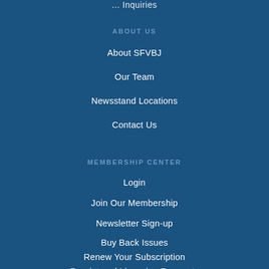ABOUT US
About SFVBJ
Our Team
Newsstand Locations
Contact Us
MEMBERSHIP CENTER
Login
Join Our Membership
Newsletter Sign-up
Buy Back Issues
Renew Your Subscription
Reprint and Licensing Requests